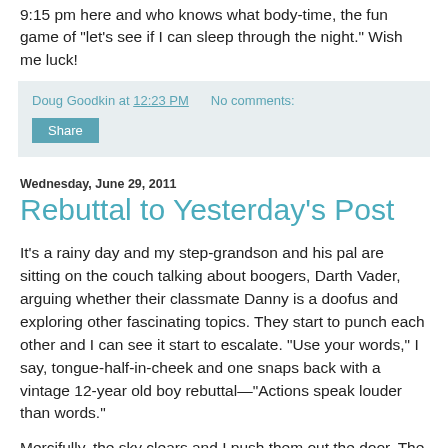9:15 pm here and who knows what body-time, the fun game of “let’s see if I can sleep through the night.” Wish me luck!
Doug Goodkin at 12:23 PM   No comments:
Share
Wednesday, June 29, 2011
Rebuttal to Yesterday’s Post
It’s a rainy day and my step-grandson and his pal are sitting on the couch talking about boogers, Darth Vader, arguing whether their classmate Danny is a doofus and exploring other fascinating topics. They start to punch each other and I can see it start to escalate. “Use your words,” I say, tongue-half-in-cheek and one snaps back with a vintage 12-year old boy rebuttal—“Actions speak louder than words.”
Mercifully, the sky clears and I push them out the door. The Zen master Suzuki Roshi once asked, “How do you control a